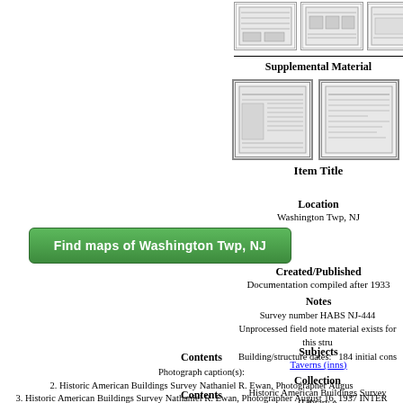[Figure (screenshot): Three thumbnail images of architectural drawings at top right]
Supplemental Material
[Figure (screenshot): Two supplemental document thumbnail images]
Item Title
Location
Washington Twp, NJ
Find maps of Washington Twp, NJ
Created/Published
Documentation compiled after 1933
Notes
Survey number HABS NJ-444
Unprocessed field note material exists for this structure.
Building/structure dates:   184 initial cons
Subjects
Taverns (inns)
Collection
Historic American Buildings Survey (Library o
Contents
Photograph caption(s):
2. Historic American Buildings Survey Nathaniel R. Ewan, Photographer Augus
3. Historic American Buildings Survey Nathaniel R. Ewan, Photographer August 16, 1937 INTER
4. Historic American Buildings Survey Nathaniel R. Ewan, Photographer August 16, 1937 INTER